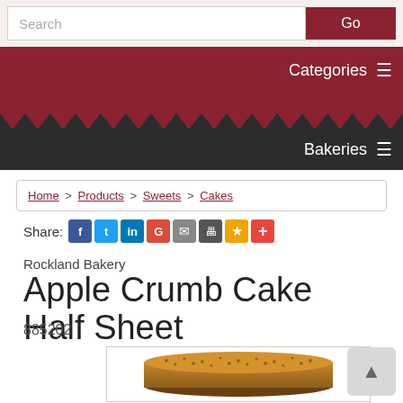Search | Go | Categories | Bakeries
Home > Products > Sweets > Cakes
Share: [Facebook] [Twitter] [LinkedIn] [Google+] [Email] [Print] [Bookmark] [More]
Rockland Bakery
Apple Crumb Cake Half Sheet
885202
[Figure (photo): Photo of an Apple Crumb Cake Half Sheet from Rockland Bakery, showing a rectangular cake with golden crumb topping]